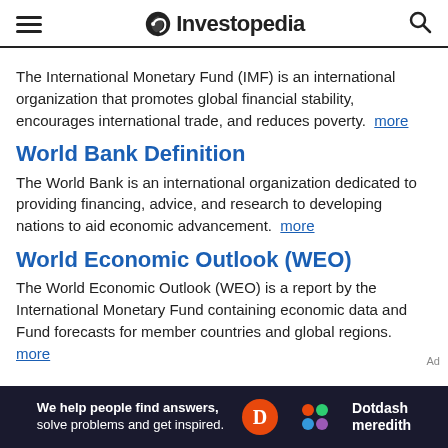Investopedia
The International Monetary Fund (IMF) is an international organization that promotes global financial stability, encourages international trade, and reduces poverty.  more
World Bank Definition
The World Bank is an international organization dedicated to providing financing, advice, and research to developing nations to aid economic advancement.  more
World Economic Outlook (WEO)
The World Economic Outlook (WEO) is a report by the International Monetary Fund containing economic data and Fund forecasts for member countries and global regions. more
[Figure (other): Dotdash Meredith advertisement banner: 'We help people find answers, solve problems and get inspired.' with D logo and colorful dots logo.]